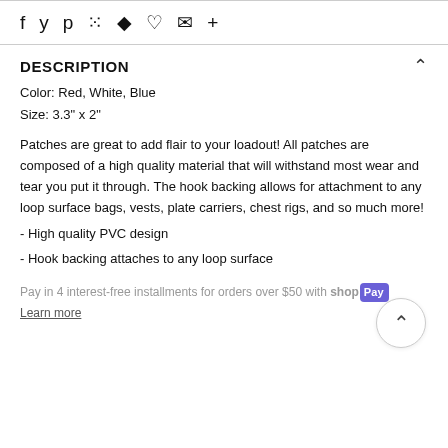f  y  p  ⠿  🖊  ♥  ✉  +
DESCRIPTION
Color: Red, White, Blue
Size: 3.3" x 2"
Patches are great to add flair to your loadout! All patches are composed of a high quality material that will withstand most wear and tear you put it through. The hook backing allows for attachment to any loop surface bags, vests, plate carriers, chest rigs, and so much more!
- High quality PVC design
- Hook backing attaches to any loop surface
Pay in 4 interest-free installments for orders over $50 with Shop Pay
Learn more